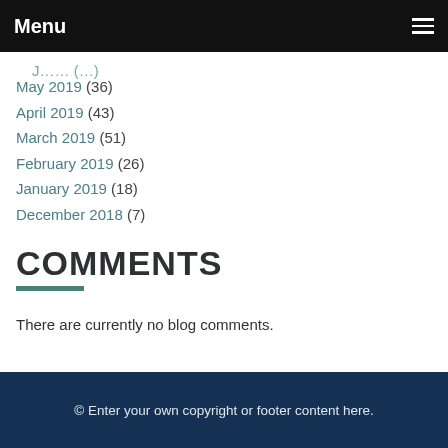Menu
May 2019 (36)
April 2019 (43)
March 2019 (51)
February 2019 (26)
January 2019 (18)
December 2018 (7)
COMMENTS
There are currently no blog comments.
© Enter your own copyright or footer content here.